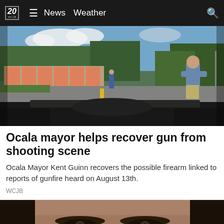20 WCJB | News  Weather
[Figure (photo): Dashcam footage showing a road scene with a man standing on the roadside near a storage facility, trees in background, taken from inside a vehicle.]
Ocala mayor helps recover gun from shooting scene
Ocala Mayor Kent Guinn recovers the possible firearm linked to reports of gunfire heard on August 13th.
WCJB
[Figure (photo): Close-up photo of a person's face, cropped to show eyes and forehead area, with a close button overlay in the bottom right.]